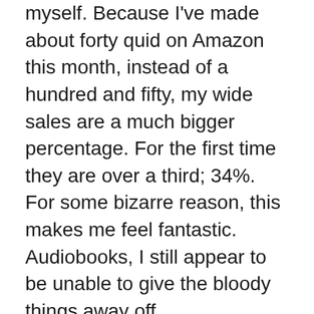myself. Because I've made about forty quid on Amazon this month, instead of a hundred and fifty, my wide sales are a much bigger percentage. For the first time they are over a third; 34%. For some bizarre reason, this makes me feel fantastic. Audiobooks, I still appear to be unable to give the bloody things away off Amazon/Audible – except for the odd library purchase or sale on Google Play. Ebooks though, there's a weeny hint of movement from non-Amazon vendors. This may be because I've been actively advertising to people in countries where Amazon companies are not the number one supplier.
It's not that I don't like Amazon as a customer, it's alright, except it's getting harder and harder to find out how to pay for anything I buy without joining Prime – talk about black pathways. But while I don't want to penalise Amazon users, I have no wish to be beholden for my income to a